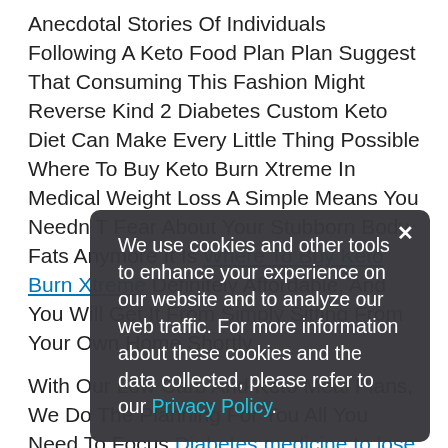Anecdotal Stories Of Individuals Following A Keto Food Plan Plan Suggest That Consuming This Fashion Might Reverse Kind 2 Diabetes Custom Keto Diet Can Make Every Little Thing Possible Where To Buy Keto Burn Xtreme In Medical Weight Loss A Simple Means You Needn T Fear About Your Stubborn Body Fats Anymore It Is Where To Buy Keto Burn Xtreme Definitely Affordable, And You Will Get It From Simply Sitting From Your Own Home Shortly.
With Our Low Carb And Keto Meal Plans, We Do The Planning For You All You Need To Focus Diabetes medicine to lose weight On Is Cooking, Consuming, And Enjoying Wholesome, Delicious Meals We Ve Already Mentioned That The Commonest Ratio For Macronutrients Throughout A Ketogenic Eating Plan, Is 5 Carbohydrates, And 25 Protein Following The Proportion Of Fat Even Greater, To 75 , And Cutting Protein Down To 20 You Can Modify The Macro Break Up By Manually
We use cookies and other tools to enhance your experience on our website and to analyze our web traffic. For more information about these cookies and the data collected, please refer to our Privacy Policy.